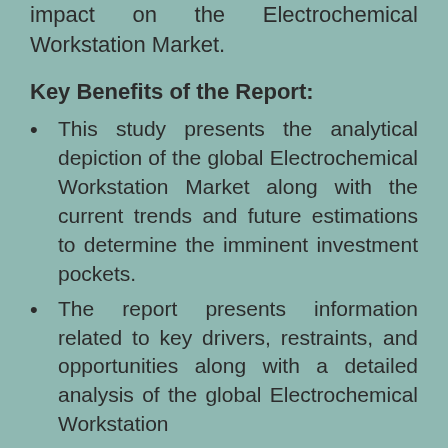impact on the Electrochemical Workstation Market.
Key Benefits of the Report:
This study presents the analytical depiction of the global Electrochemical Workstation Market along with the current trends and future estimations to determine the imminent investment pockets.
The report presents information related to key drivers, restraints, and opportunities along with a detailed analysis of the global Electrochemical Workstation